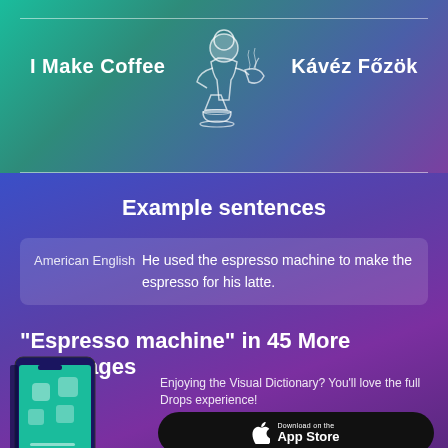[Figure (illustration): White/light illustration of a person pouring coffee into a dripper/pour-over setup on a cup]
I Make Coffee
Kávéz Főzök
Example sentences
American English	He used the espresso machine to make the espresso for his latte.
"Espresso machine" in 45 More Languages
[Figure (screenshot): Smartphone screenshot showing the Drops language learning app interface with food/coffee illustrations]
Enjoying the Visual Dictionary? You'll love the full Drops experience!
[Figure (logo): Download on the App Store button]